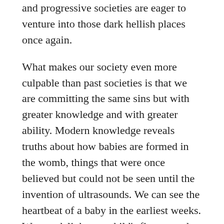and progressive societies are eager to venture into those dark hellish places once again.
What makes our society even more culpable than past societies is that we are committing the same sins but with greater knowledge and with greater ability. Modern knowledge reveals truths about how babies are formed in the womb, things that were once believed but could not be seen until the invention of ultrasounds. We can see the heartbeat of a baby in the earliest weeks. We can delight at a child's fingers and toes growing at 6 weeks. We now know that babies can hear and respond to music by 16 weeks; the next Mozart is already learning to feel and marvel at the beauty of sound.
Medical advancements give us unparalleled ability to care for both mother and child, to even perform surgery